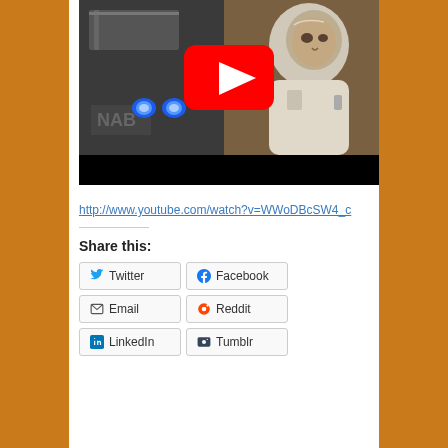[Figure (screenshot): YouTube video thumbnail showing a scene from a science fiction film with an astronaut in a spacesuit and industrial equipment with blue lights, overlaid with a large red YouTube play button.]
http://www.youtube.com/watch?v=WWoDBcSW4_c
Share this:
Twitter
Facebook
Email
Reddit
LinkedIn
Tumblr